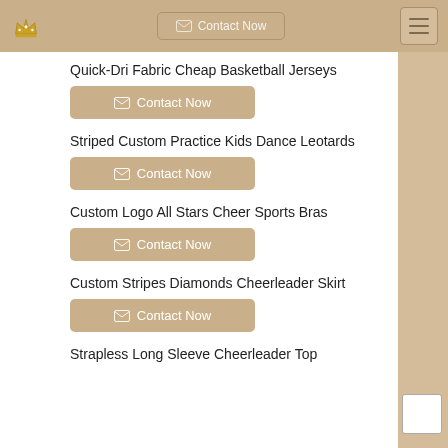Contact Now
Quick-Dri Fabric Cheap Basketball Jerseys
Contact Now
Striped Custom Practice Kids Dance Leotards
Contact Now
Custom Logo All Stars Cheer Sports Bras
Contact Now
Custom Stripes Diamonds Cheerleader Skirt
Contact Now
Strapless Long Sleeve Cheerleader Top